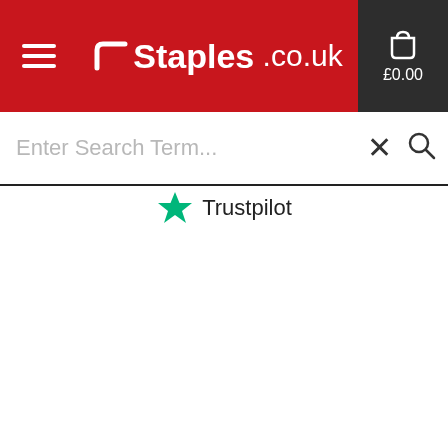Staples .co.uk  £0.00
Enter Search Term...
[Figure (logo): Trustpilot logo with green star and Trustpilot text]